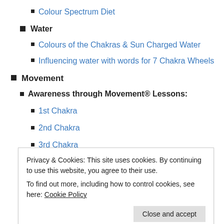Colour Spectrum Diet
Water
Colours of the Chakras & Sun Charged Water
Influencing water with words for 7 Chakra Wheels
Movement
Awareness through Movement® Lessons:
1st Chakra
2nd Chakra
3rd Chakra
4th Chakra (partially visible)
Privacy & Cookies: This site uses cookies. By continuing to use this website, you agree to their use. To find out more, including how to control cookies, see here: Cookie Policy
Chakra Flower Essence suggestions for